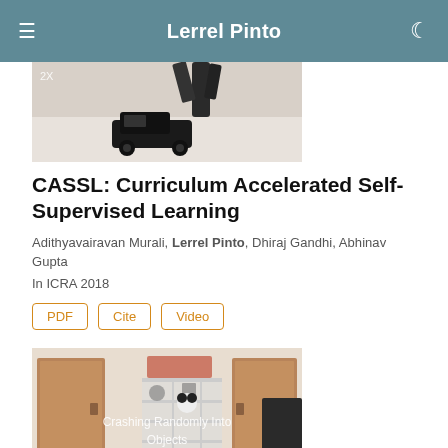Lerrel Pinto
[Figure (photo): Photo of a robotic arm manipulating a toy black truck on a white surface, with '2X' label overlay in top-left corner]
CASSL: Curriculum Accelerated Self-Supervised Learning
Adithyavairavan Murali, Lerrel Pinto, Dhiraj Gandhi, Abhinav Gupta
In ICRA 2018
PDF
Cite
Video
[Figure (photo): Photo of a hallway/room interior with doors, a shelving unit, and items on shelves, with text overlay reading 'Crashing Randomly Into Objects']